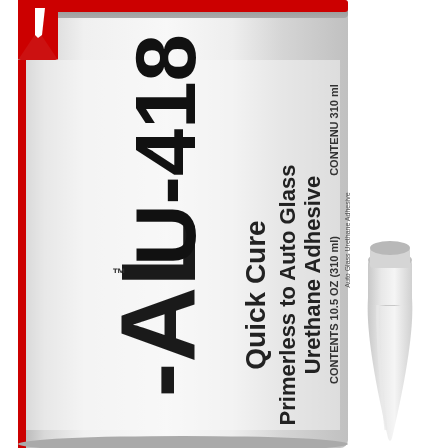[Figure (photo): Product photo of a white cylindrical caulk tube labeled 'SEAL U-418 Quick Cure Primerless to Auto Glass Urethane Adhesive, CONTENTS 10.5 OZ (310 ml)' with red and black branding. A separate white conical nozzle/tip is shown to the right of the tube, both on a white background.]